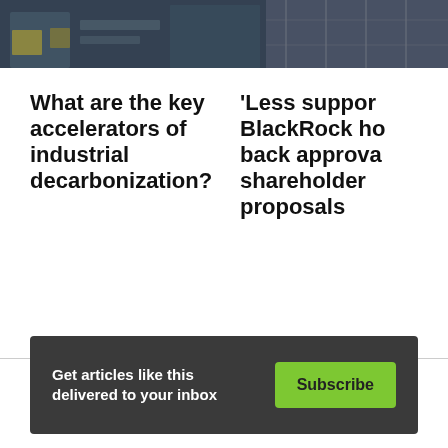[Figure (photo): Left: Two workers in high-visibility jackets at a workstation with monitors]
[Figure (photo): Right: Construction scaffolding on a building facade]
What are the key accelerators of industrial decarbonization?
'Less support: BlackRock holds back approval of shareholder proposals
Carousel pagination dots — 5 dots, first active
Get articles like this delivered to your inbox Subscribe